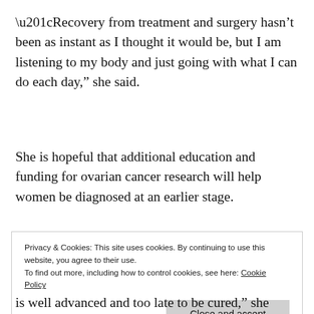“Recovery from treatment and surgery hasn’t been as instant as I thought it would be, but I am listening to my body and just going with what I can do each day,” she said.
She is hopeful that additional education and funding for ovarian cancer research will help women be diagnosed at an earlier stage.
Privacy & Cookies: This site uses cookies. By continuing to use this website, you agree to their use.
To find out more, including how to control cookies, see here: Cookie Policy
Close and accept
is well advanced and too late to be cured,” she